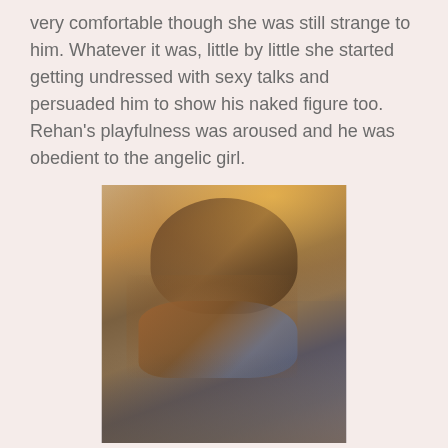very comfortable though she was still strange to him. Whatever it was, little by little she started getting undressed with sexy talks and persuaded him to show his naked figure too. Rehan's playfulness was aroused and he was obedient to the angelic girl.
[Figure (photo): A close-up photograph of two people in an intimate moment, warm golden backlight, hands clasped together in the foreground, faces partially visible with warm tones.]